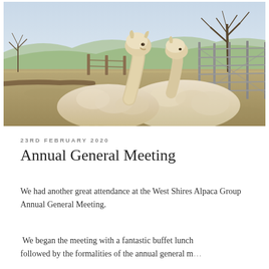[Figure (photo): Two white/cream alpacas resting on the ground in a farm paddock. A metal gate and fence posts are visible in the background, along with rolling countryside hills and bare winter trees under a pale sky.]
23RD FEBRUARY 2020
Annual General Meeting
We had another great attendance at the West Shires Alpaca Group Annual General Meeting.
We began the meeting with a fantastic buffet lunch followed by the formalities of the annual general m...